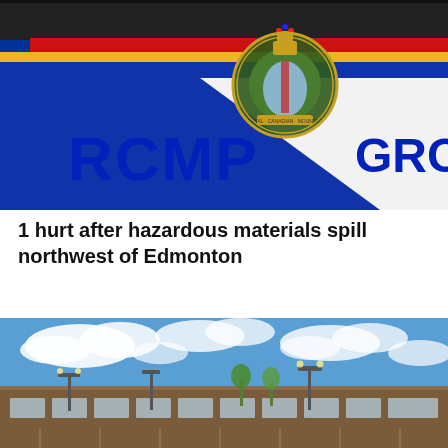[Figure (photo): Close-up photo of an RCMP (Royal Canadian Mounted Police) police vehicle door showing the RCMP crest/badge and the text 'RCMP GRC' in large blue letters, with red, yellow, and blue stripes across the top of the vehicle.]
1 hurt after hazardous materials spill northwest of Edmonton
[Figure (photo): Exterior photo of a commercial or institutional building with a parking lot in front, street lights visible, blue sky with white clouds overhead, and sparse trees nearby.]